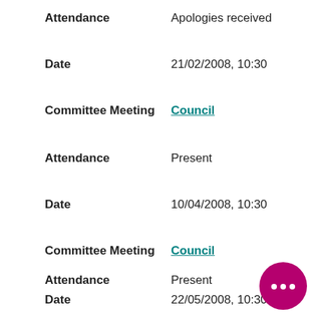Attendance    Apologies received
Date    21/02/2008, 10:30
Committee Meeting    Council
Attendance    Present
Date    10/04/2008, 10:30
Committee Meeting    Council
Attendance    Present
Date    22/05/2008, 10:30
Committee Meeting    Council